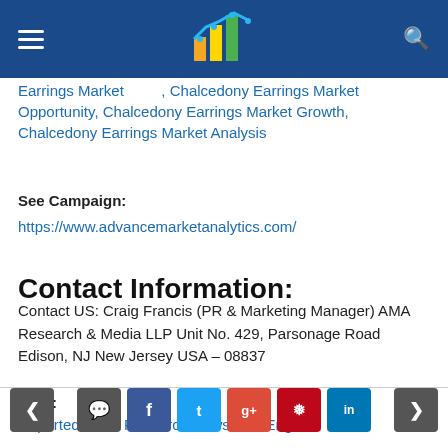Chalcedony Earrings Market Opportunity, Chalcedony Earrings Market Growth, Chalcedony Earrings Market Analysis
See Campaign:
https://www.advancemarketanalytics.com/
Contact Information:
Contact US: Craig Francis (PR & Marketing Manager) AMA Research & Media LLP Unit No. 429, Parsonage Road Edison, NJ New Jersey USA – 08837
Tags:
Reportedtimes, Research Newswire, English
Navigation: prev | comment | facebook | twitter | google+ | pinterest | linkedin | next